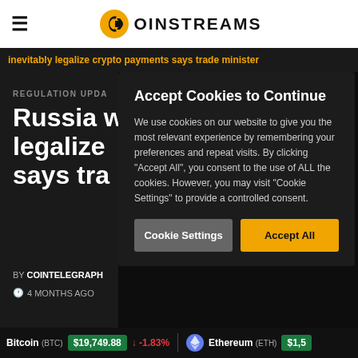[Figure (logo): Coinstreams logo with hamburger menu icon on white header bar]
inevitably legalize crypto payments says trade minister
REGULATION UPDA
Russia w legalize says tra
BY COINTELEGRAPH
4 MONTHS AGO
[Figure (screenshot): Cookie consent modal dialog with title 'Accept Cookies to Continue', body text about cookie usage, and two buttons: 'Cookie Settings' and 'Accept All']
Bitcoin (BTC) $19,749.88 ↓ -1.83%   Ethereum (ETH) $1,5